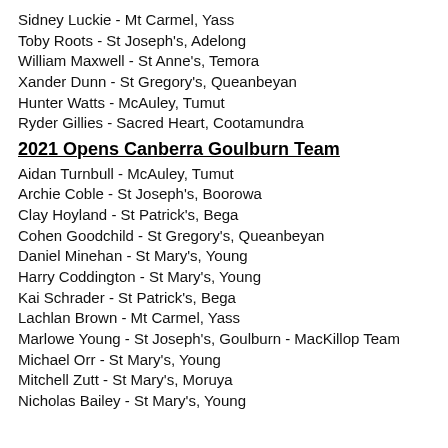Sidney Luckie - Mt Carmel, Yass
Toby Roots - St Joseph's, Adelong
William Maxwell - St Anne's, Temora
Xander Dunn - St Gregory's, Queanbeyan
Hunter Watts - McAuley, Tumut
Ryder Gillies - Sacred Heart, Cootamundra
2021 Opens Canberra Goulburn Team
Aidan Turnbull - McAuley, Tumut
Archie Coble - St Joseph's, Boorowa
Clay Hoyland - St Patrick's, Bega
Cohen Goodchild - St Gregory's, Queanbeyan
Daniel Minehan - St Mary's, Young
Harry Coddington - St Mary's, Young
Kai Schrader - St Patrick's, Bega
Lachlan Brown - Mt Carmel, Yass
Marlowe Young - St Joseph's, Goulburn - MacKillop Team
Michael Orr - St Mary's, Young
Mitchell Zutt - St Mary's, Moruya
Nicholas Bailey - St Mary's, Young